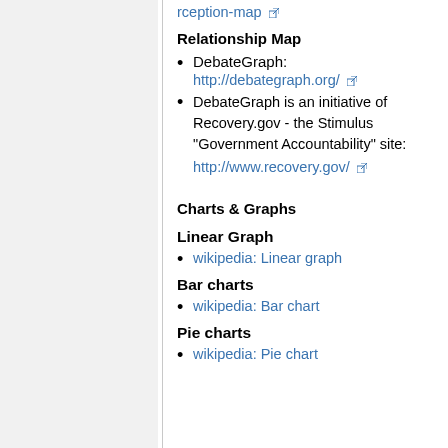rception-map [external link]
Relationship Map
DebateGraph: http://debategraph.org/ [external link]
DebateGraph is an initiative of Recovery.gov - the Stimulus "Government Accountability" site: http://www.recovery.gov/ [external link]
Charts & Graphs
Linear Graph
wikipedia: Linear graph
Bar charts
wikipedia: Bar chart
Pie charts
wikipedia: Pie chart